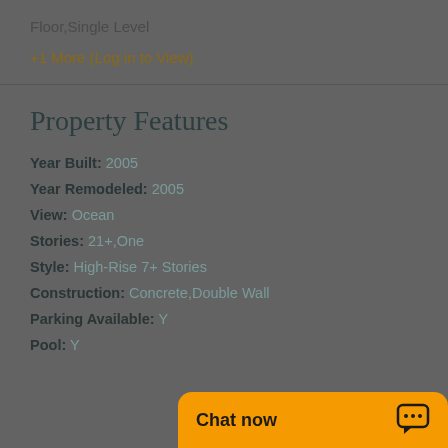Floor,Single Level
+1 More (Log in to View)
Property Features
Year Built: 2005
Year Remodeled: 2005
View: Ocean
Stories: 21+,One
Style: High-Rise 7+ Stories
Construction: Concrete,Double Wall
Parking Available: Y
Pool: Y
Chat now